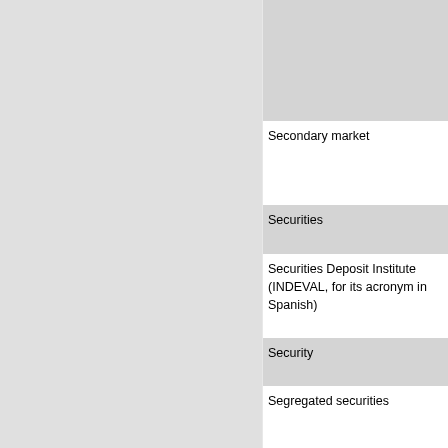| Term | Definition |
| --- | --- |
|  | available
money b...
Positive
effects th...
In the ca...
interest p... |
| Secondary market | Series o...
already i...
security
securitie... |
| Securities | In the br...
Securitie... |
| Securities Deposit Institute (INDEVAL, for its acronym in Spanish) | The Sec...
as a sec...
administ...
physical... |
| Security | Docume...
traded a... |
| Segregated securities | Debt sec...
coupons...
independ... |
| Selected range | Series o...
wear, re... |